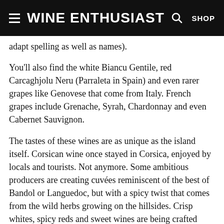Wine Enthusiast
adapt spelling as well as names).
You'll also find the white Biancu Gentile, red Carcaghjolu Neru (Parraleta in Spain) and even rarer grapes like Genovese that come from Italy. French grapes include Grenache, Syrah, Chardonnay and even Cabernet Sauvignon.
The tastes of these wines are as unique as the island itself. Corsican wine once stayed in Corsica, enjoyed by locals and tourists. Not anymore. Some ambitious producers are creating cuvées reminiscent of the best of Bandol or Languedoc, but with a spicy twist that comes from the wild herbs growing on the hillsides. Crisp whites, spicy reds and sweet wines are being crafted from Muscat grapes.
Often delightfully low in alcohol (11–12% abv) and with a